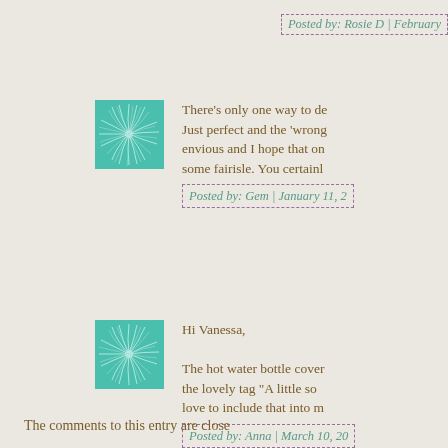Posted by: Rosie D | February
[Figure (illustration): Decorative teal illustration with radiating plant/starburst pattern, square format with teal border]
There's only one way to de... Just perfect and the 'wrong... envious and I hope that on... some fairisle. You certainl...
Posted by: Gem | January 11, 2...
[Figure (illustration): Decorative teal illustration with radiating plant/starburst pattern, square format with teal border]
Hi Vanessa,

The hot water bottle cover... the lovely tag "A little so... love to include that into m...
Posted by: Anna | March 10, 20...
The comments to this entry are close...